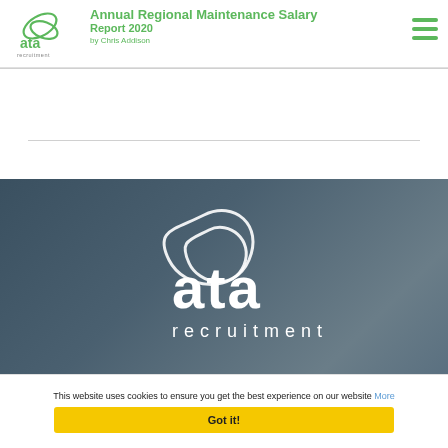[Figure (logo): ATA Recruitment logo - circular leaf/wing shape with 'ata' text and 'recruitment' below]
Annual Regional Maintenance Salary Report 2020
by Chris Addison
[Figure (logo): Large ATA Recruitment logo in white on dark blue-grey photographic background of industrial/aircraft surface]
This website uses cookies to ensure you get the best experience on our website More
Got it!